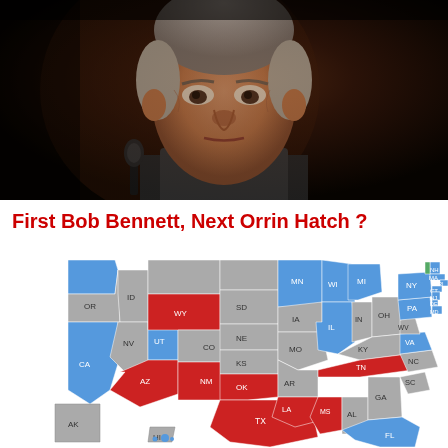[Figure (photo): Close-up photo of an elderly man in a suit at a microphone, likely in a Senate hearing room, dark background]
First Bob Bennett, Next Orrin Hatch ?
[Figure (map): US Electoral/Political map showing states colored red (Republican), blue (Democrat), gray (swing/other), and green. States labeled with abbreviations: OR, ID, WY, NV, UT, CO, AZ, NM, TX, CA, AK, HI, SD, NE, KS, OK, MN, IA, MO, AR, LA, WI, MI, IL, IN, OH, KY, TN, MS, AL, GA, FL, SC, NC, WV, VA, PA, NY, NH, MA, RI, CT, NJ, DE, MD, WY shown in red; NM, TX, AZ shown in red; many eastern states blue; some states gray.]